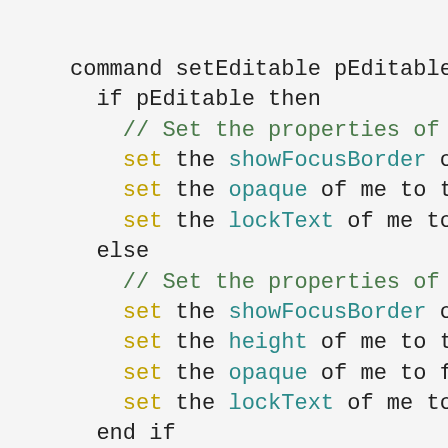command setEditable pEditable
  if pEditable then
    // Set the properties of the
    set the showFocusBorder of me
    set the opaque of me to true
    set the lockText of me to fal
  else
    // Set the properties of the
    set the showFocusBorder of me
    set the height of me to the h
    set the opaque of me to false
    set the lockText of me to tru
  end if
end setEditable